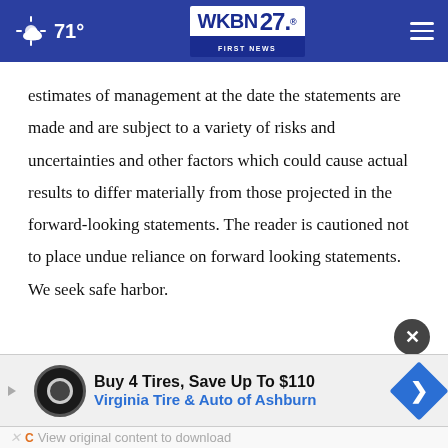71° WKBN FIRST NEWS 27.
estimates of management at the date the statements are made and are subject to a variety of risks and uncertainties and other factors which could cause actual results to differ materially from those projected in the forward-looking statements. The reader is cautioned not to place undue reliance on forward looking statements. We seek safe harbor.
[Figure (screenshot): Advertisement banner: Buy 4 Tires, Save Up To $110 - Virginia Tire & Auto of Ashburn, with Firestone Auto logo and blue direction sign icon]
View original content to download